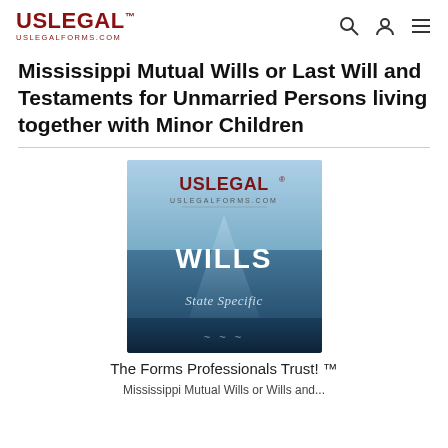USLegal™ uslegalforms.com
Mississippi Mutual Wills or Last Will and Testaments for Unmarried Persons living together with Minor Children
[Figure (logo): USLegal Wills State Specific product cover image with blue gradient background, USLEGAL logo at top, WILLS text in white bold, State Specific text below, eagle emblem at bottom]
The Forms Professionals Trust! ™
Mississippi Mutual Wills or Wills and...